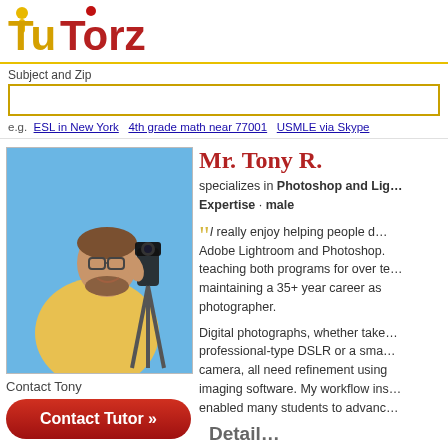[Figure (logo): TuTorz logo with yellow and red text and small figure icons]
Subject and Zip
e.g.   ESL in New York   4th grade math near 77001   USMLE via Skype
[Figure (photo): Man in yellow shirt holding a camera on a tripod, blue background]
Contact Tony
Contact Tutor »
Mr. Tony R.
specializes in Photoshop and Lightroom Expertise · male
"I really enjoy helping people discover Adobe Lightroom and Photoshop. I have been teaching both programs for over ten years while maintaining a 35+ year career as a professional photographer.
Digital photographs, whether taken with a professional-type DSLR or a smartphone camera, all need refinement using quality imaging software. My workflow instruction has enabled many students to advance...
Details